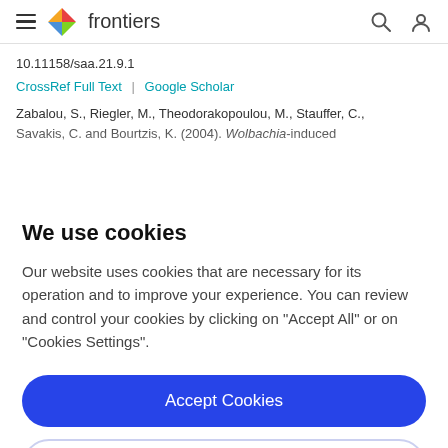frontiers
10.11158/saa.21.9.1
CrossRef Full Text | Google Scholar
Zabalou, S., Riegler, M., Theodorakopoulou, M., Stauffer, C., Savakis, C. and Bourtzis, K. (2004). Wolbachia-induced
We use cookies
Our website uses cookies that are necessary for its operation and to improve your experience. You can review and control your cookies by clicking on "Accept All" or on "Cookies Settings".
Accept Cookies
Cookies Settings